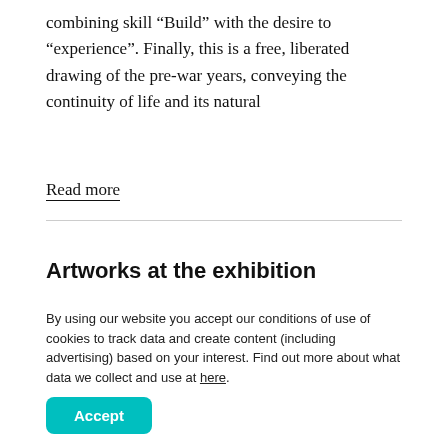combining skill “Build” with the desire to “experience”. Finally, this is a free, liberated drawing of the pre-war years, conveying the continuity of life and its natural
Read more
Artworks at the exhibition
[Figure (photo): Two olive/khaki colored artwork image placeholders side by side]
By using our website you accept our conditions of use of cookies to track data and create content (including advertising) based on your interest. Find out more about what data we collect and use at here.
Accept